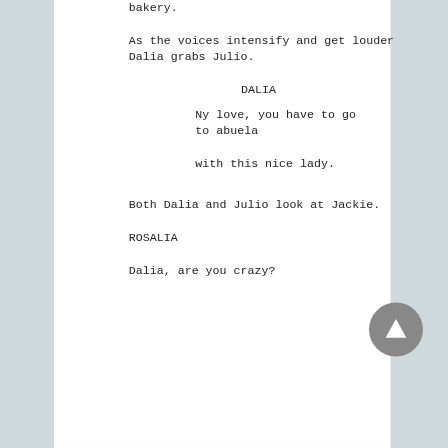bakery.
As the voices intensify and get louder Dalia grabs Julio.
DALIA
Ny love, you have to go to abuela with this nice lady.
Both Dalia and Julio look at Jackie.
ROSALIA
Dalia, are you crazy?